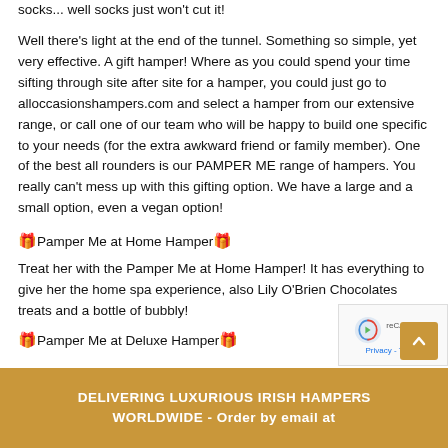socks... well socks just won't cut it!
Well there's light at the end of the tunnel. Something so simple, yet very effective. A gift hamper! Where as you could spend your time sifting through site after site for a hamper, you could just go to alloccasionshampers.com and select a hamper from our extensive range, or call one of our team who will be happy to build one specific to your needs (for the extra awkward friend or family member). One of the best all rounders is our PAMPER ME range of hampers. You really can't mess up with this gifting option. We have a large and a small option, even a vegan option!
🎁Pamper Me at Home Hamper🎁
Treat her with the Pamper Me at Home Hamper! It has everything to give her the home spa experience, also Lily O'Brien Chocolates treats and a bottle of bubbly!
🎁Pamper Me at Deluxe Hamper🎁
DELIVERING LUXURIOUS IRISH HAMPERS WORLDWIDE - Order by email at